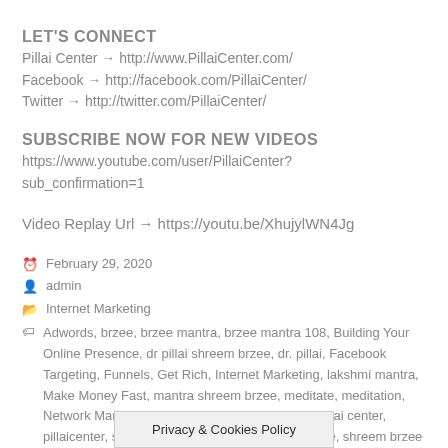LET'S CONNECT
Pillai Center → http://www.PillaiCenter.com/
Facebook → http://facebook.com/PillaiCenter/
Twitter → http://twitter.com/PillaiCenter/
SUBSCRIBE NOW FOR NEW VIDEOS
https://www.youtube.com/user/PillaiCenter?sub_confirmation=1
Video Replay Url → https://youtu.be/XhujylWN4Jg
February 29, 2020
admin
Internet Marketing
Adwords, brzee, brzee mantra, brzee mantra 108, Building Your Online Presence, dr pillai shreem brzee, dr. pillai, Facebook Targeting, Funnels, Get Rich, Internet Marketing, lakshmi mantra, Make Money Fast, mantra shreem brzee, meditate, meditation, Network Marketing, om shreem brzee namaha, pillai center, pillaicenter, shreem, shreem brezee, shreem brzee, shreem brzee d… hreem
Privacy & Cookies Policy